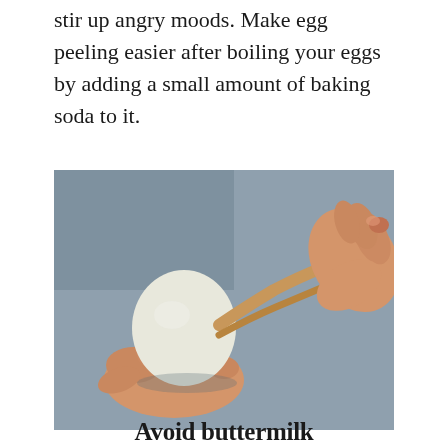stir up angry moods. Make egg peeling easier after boiling your eggs by adding a small amount of baking soda to it.
[Figure (photo): Close-up photo of two hands peeling a hard-boiled egg. The left hand holds the smooth white egg while the right hand pulls away a large strip of brown eggshell. Background is a muted blue-grey.]
Avoid buttermilk